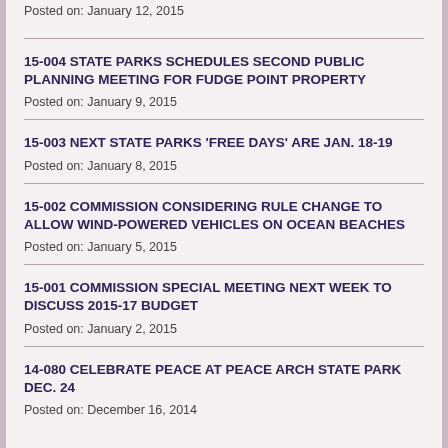Posted on: January 12, 2015
15-004 STATE PARKS SCHEDULES SECOND PUBLIC PLANNING MEETING FOR FUDGE POINT PROPERTY
Posted on: January 9, 2015
15-003 NEXT STATE PARKS 'FREE DAYS' ARE JAN. 18-19
Posted on: January 8, 2015
15-002 COMMISSION CONSIDERING RULE CHANGE TO ALLOW WIND-POWERED VEHICLES ON OCEAN BEACHES
Posted on: January 5, 2015
15-001 COMMISSION SPECIAL MEETING NEXT WEEK TO DISCUSS 2015-17 BUDGET
Posted on: January 2, 2015
14-080 CELEBRATE PEACE AT PEACE ARCH STATE PARK DEC. 24
Posted on: December 16, 2014